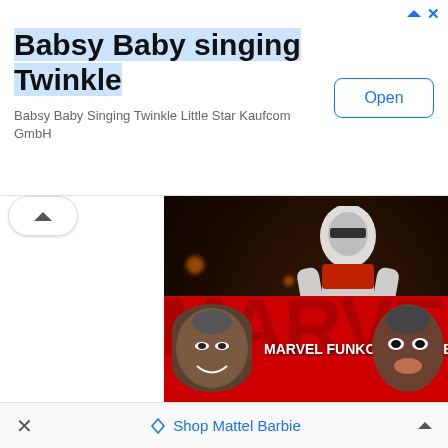[Figure (screenshot): Advertisement banner for 'Babsy Baby singing Twinkle' app by Kaufcom GmbH with an Open button]
Babsy Baby singing Twinkle
Babsy Baby Singing Twinkle Little Star Kaufcom GmbH
[Figure (screenshot): YouTube video thumbnail showing Star Wars Funko Pop figure with 4K Ultra HD badge and 'Watch on YouTube' overlay]
[Figure (screenshot): YouTube video thumbnail showing Marvel Funko Pops Unboxing with MARVEL logo and two people reacting]
Shop Mattel Barbie